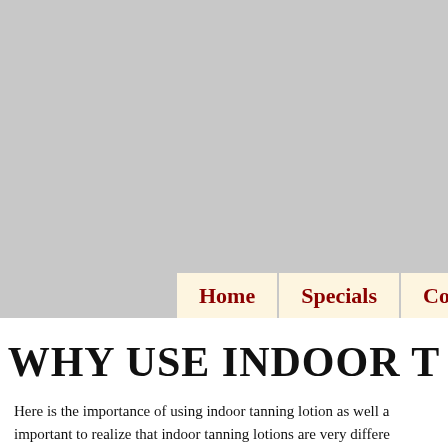[Figure (other): Gray banner/header area at the top of the page]
Home   Specials   Coupo...
WHY USE INDOOR T
Here is the importance of using indoor tanning lotion as well a... important to realize that indoor tanning lotions are very differe...